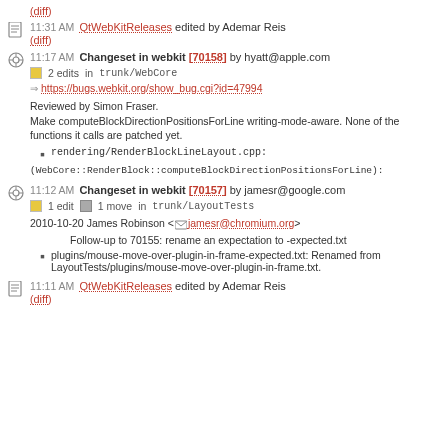(diff)
11:31 AM QtWebKitReleases edited by Ademar Reis (diff)
11:17 AM Changeset in webkit [70158] by hyatt@apple.com
2 edits in trunk/WebCore
https://bugs.webkit.org/show_bug.cgi?id=47994
Reviewed by Simon Fraser. Make computeBlockDirectionPositionsForLine writing-mode-aware. None of the functions it calls are patched yet.
rendering/RenderBlockLineLayout.cpp:
(WebCore::RenderBlock::computeBlockDirectionPositionsForLine):
11:12 AM Changeset in webkit [70157] by jamesr@google.com
1 edit  1 move  in trunk/LayoutTests
2010-10-20 James Robinson <jamesr@chromium.org>
Follow-up to 70155: rename an expectation to -expected.txt
plugins/mouse-move-over-plugin-in-frame-expected.txt: Renamed from LayoutTests/plugins/mouse-move-over-plugin-in-frame.txt.
11:11 AM QtWebKitReleases edited by Ademar Reis (diff)